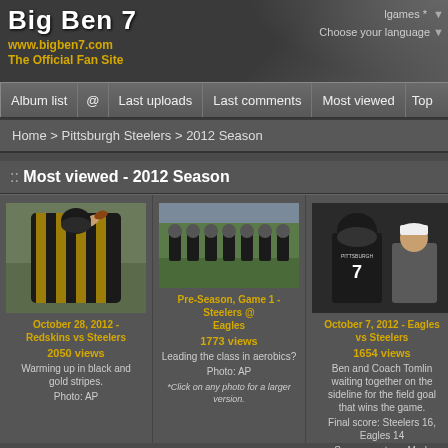Big Ben 7
www.bigben7.com
The Official Fan Site
lgames * | Choose your language
Album list | @ | Last uploads | Last comments | Most viewed | Top
Home > Pittsburgh Steelers > 2012 Season
:: Most viewed - 2012 Season
[Figure (photo): Football player in black and gold striped uniform throwing a pass]
October 28, 2012 - Redskins vs Steelers
2050 views
Warming up in black and gold stripes.
Photo: AP
[Figure (photo): Football players doing warmup exercises on the field]
Pre-Season, Game 1 - Steelers @ Eagles
1773 views
Leading the class in aerobics?
Photo: AP
*Click on any photo for a larger version.
[Figure (photo): Ben Roethlisberger #7 with Coach Tomlin on the sideline]
October 7, 2012 - Eagles vs Steelers
1654 views
Ben and Coach Tomlin waiting together on the sideline for the field goal that wins the game.
Final score: Steelers 16, Eagles 14
Screen capture: Mark Banko